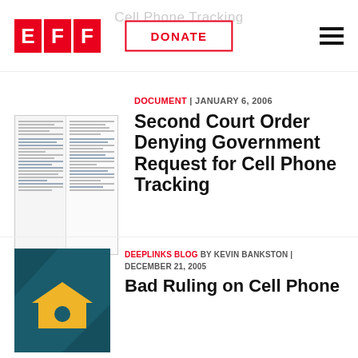EFF | DONATE | Cell Phone Tracking
[Figure (screenshot): Thumbnail of a court document with two-column text layout]
DOCUMENT | JANUARY 6, 2006
Second Court Order Denying Government Request for Cell Phone Tracking
DEEPLINKS BLOG BY KEVIN BANKSTON | DECEMBER 21, 2005
Bad Ruling on Cell Phone...